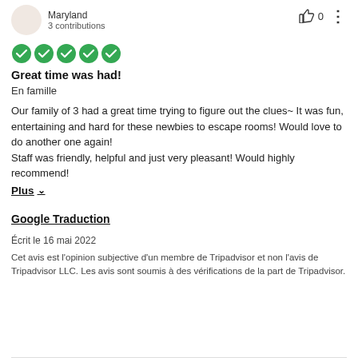Maryland
3 contributions
[Figure (illustration): Five green filled circles representing a 5-star rating on TripAdvisor]
Great time was had!
En famille
Our family of 3 had a great time trying to figure out the clues~ It was fun, entertaining and hard for these newbies to escape rooms! Would love to do another one again!
Staff was friendly, helpful and just very pleasant! Would highly recommend!
Plus ∨
Google Traduction
Écrit le 16 mai 2022
Cet avis est l'opinion subjective d'un membre de Tripadvisor et non l'avis de Tripadvisor LLC. Les avis sont soumis à des vérifications de la part de Tripadvisor.